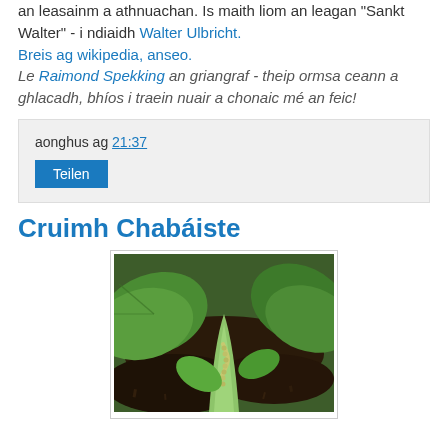an leasainm a athnuachan. Is maith liom an leagan "Sankt Walter" - i ndiaidh Walter Ulbricht. Breis ag wikipedia, anseo. Le Raimond Spekking an griangraf - theip ormsa ceann a ghlacadh, bhíos i traein nuair a chonaic mé an feic!
aonghus ag 21:37
Teilen
Cruimh Chabáiste
[Figure (photo): Close-up photo of a caterpillar or worm on green cabbage plants and dark soil]